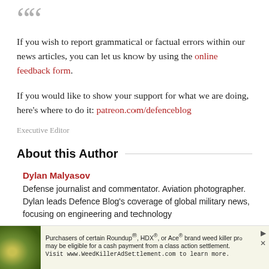““
If you wish to report grammatical or factual errors within our news articles, you can let us know by using the online feedback form.
If you would like to show your support for what we are doing, here’s where to do it: patreon.com/defenceblog
Executive Editor
About this Author
Dylan Malyasov
Defense journalist and commentator. Aviation photographer. Dylan leads Defence Blog’s coverage of global military news, focusing on engineering and technology
[Figure (infographic): Advertisement banner: photo of yellow flowers/weeds on left, text about Roundup/HDX/Ace brand weed killer class action settlement, visit WeedKillerAdSettlement.com]